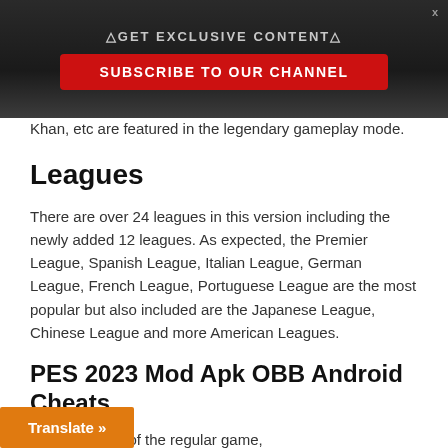△GET EXCLUSIVE CONTENT△
SUBSCRIBE TO OUR CHANNEL
Khan, etc are featured in the legendary gameplay mode.
Leagues
There are over 24 leagues in this version including the newly added 12 leagues. As expected, the Premier League, Spanish League, Italian League, German League, French League, Portuguese League are the most popular but also included are the Japanese League, Chinese League and more American Leagues.
PES 2023 Mod Apk OBB Android Cheats
odded version of the regular game,